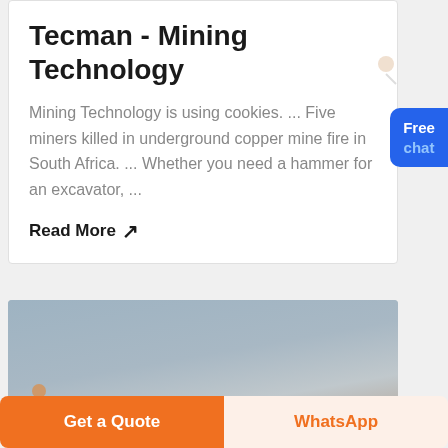Tecman - Mining Technology
Mining Technology is using cookies. ... Five miners killed in underground copper mine fire in South Africa. ... Whether you need a hammer for an excavator, ...
Read More ↗
[Figure (photo): Outdoor photo showing sky and a small structure or figure in lower left corner]
Get a Quote
WhatsApp